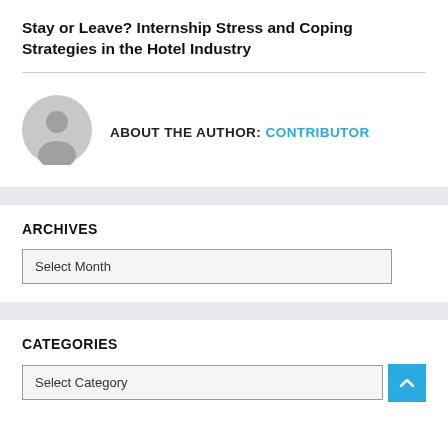Stay or Leave? Internship Stress and Coping Strategies in the Hotel Industry
ABOUT THE AUTHOR: CONTRIBUTOR
[Figure (illustration): Generic grey avatar/profile placeholder icon]
ARCHIVES
Select Month
CATEGORIES
Select Category